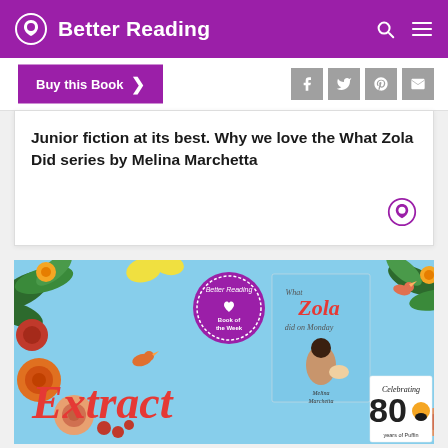Better Reading
Buy this Book
Junior fiction at its best. Why we love the What Zola Did series by Melina Marchetta
[Figure (screenshot): Book extract image showing 'Extract' text in red italic font over a floral background, with a book cover for 'What Zola Did on Monday' by Melina Marchetta and a 'Celebrating 80 years of Puffin' badge]